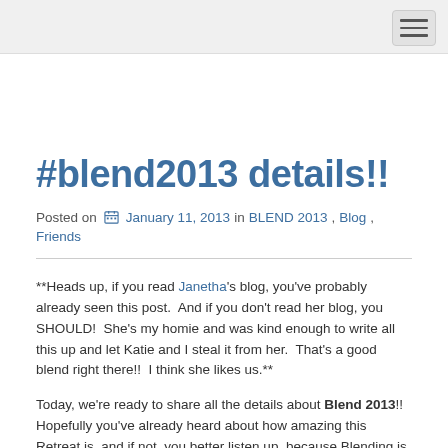Navigation header with hamburger menu
#blend2013 details!!
Posted on January 11, 2013 in BLEND 2013, Blog, Friends
**Heads up, if you read Janetha's blog, you've probably already seen this post.  And if you don't read her blog, you SHOULD!  She's my homie and was kind enough to write all this up and let Katie and I steal it from her.  That's a good blend right there!!  I think she likes us.**
Today, we're ready to share all the details about Blend 2013!!  Hopefully you've already heard about how amazing this Retreat is, and if not, you better listen up, because Blending is the...